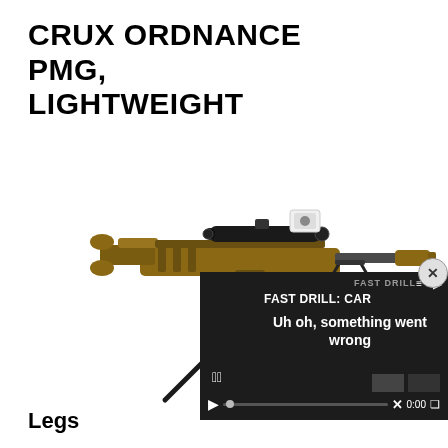CRUX ORDNANCE PMG, LIGHTWEIGHT
[Figure (photo): A Crux Ordnance PMG lightweight precision rifle/machine gun in tan/FDE finish, mounted on a tall black tripod, fitted with a long scope, suppressor, and camera on top. White background.]
[Figure (screenshot): A video player overlay showing 'FAST DRILL: CAR' title text and an error message 'Uh oh, something went wrong'. Controls show play button, progress bar, X button, 0:00 timestamp, and fullscreen icon. Dark background.]
Legs